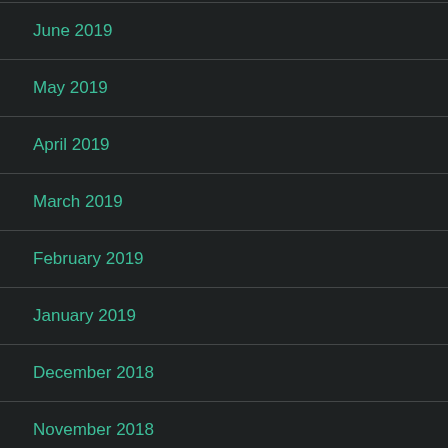June 2019
May 2019
April 2019
March 2019
February 2019
January 2019
December 2018
November 2018